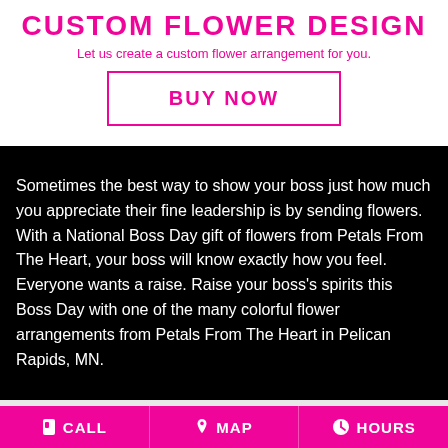CUSTOM FLOWER DESIGN
Let us create a custom flower arrangement for you.
BUY NOW
Sometimes the best way to show your boss just how much you appreciate their fine leadership is by sending flowers. With a National Boss Day gift of flowers from Petals From The Heart, your boss will know exactly how you feel. Everyone wants a raise. Raise your boss's spirits this Boss Day with one of the many colorful flower arrangements from Petals From The Heart in Pelican Rapids, MN.
CALL   MAP   HOURS